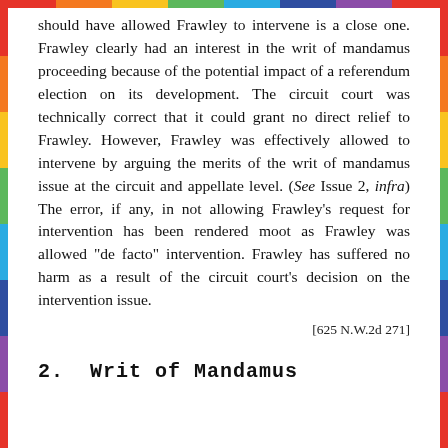should have allowed Frawley to intervene is a close one. Frawley clearly had an interest in the writ of mandamus proceeding because of the potential impact of a referendum election on its development. The circuit court was technically correct that it could grant no direct relief to Frawley. However, Frawley was effectively allowed to intervene by arguing the merits of the writ of mandamus issue at the circuit and appellate level. (See Issue 2, infra) The error, if any, in not allowing Frawley's request for intervention has been rendered moot as Frawley was allowed "de facto" intervention. Frawley has suffered no harm as a result of the circuit court's decision on the intervention issue.
[625 N.W.2d 271]
2.  Writ of Mandamus